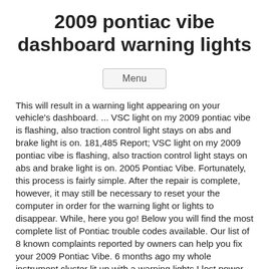2009 pontiac vibe dashboard warning lights
Menu
This will result in a warning light appearing on your vehicle's dashboard. ... VSC light on my 2009 pontiac vibe is flashing, also traction control light stays on abs and brake light is on. 181,485 Report; VSC light on my 2009 pontiac vibe is flashing, also traction control light stays on abs and brake light is on. 2005 Pontiac Vibe. Fortunately, this process is fairly simple. After the repair is complete, however, it may still be necessary to reset your the computer in order for the warning light or lights to disappear. While, here you go! Below you will find the most complete list of Pontiac trouble codes available. Our list of 8 known complaints reported by owners can help you fix your 2009 Pontiac Vibe. 6 months ago my whole instrument cluster lit up with a warning lights I lost power steering, one headlight and windshield wipers. Yellow warning light on dashboard looks like exclamation point- what does it mean car just bought no manual yet it is to the left. 4 Answers. iv 3 Answers WARNING LIGHTS WERE FLASHING ON THE DASHBOARD. All lights on dashboard do not work. Used Cars New Cars Financing Car Values Sell My Car ... 2014 at 09:33 AM about the 2003 Pontiac Vibe Page ...